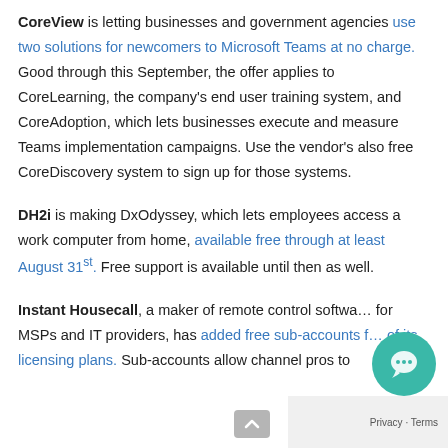CoreView is letting businesses and government agencies use two solutions for newcomers to Microsoft Teams at no charge. Good through this September, the offer applies to CoreLearning, the company's end user training system, and CoreAdoption, which lets businesses execute and measure Teams implementation campaigns. Use the vendor's also free CoreDiscovery system to sign up for those systems.
DH2i is making DxOdyssey, which lets employees access a work computer from home, available free through at least August 31st. Free support is available until then as well.
Instant Housecall, a maker of remote control software for MSPs and IT providers, has added free sub-accounts for all of its licensing plans. Sub-accounts allow channel pros to